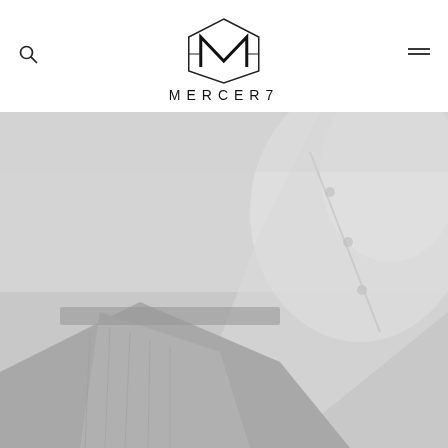MERCER7 logo with search and menu icons
[Figure (photo): Grayscale fashion photograph showing a person wearing jeans and a white button-up shirt, cropped to show torso and hands. The image is desaturated and light in tone.]